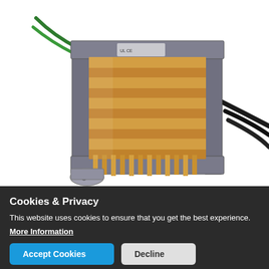[Figure (photo): A power transformer with a laminated steel E-I core, amber/gold copper wire coil winding, metal mounting bracket with a hole, green and black lead wires coming out, on white background.]
Click to zoom in
Customer Images:
No Images yet! Submit a product image below!
Cookies & Privacy
This website uses cookies to ensure that you get the best experience.
More Information